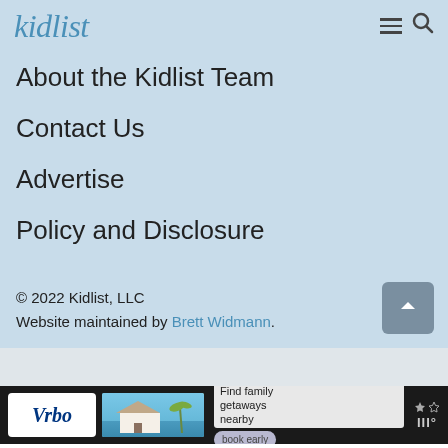kidlist
About the Kidlist Team
Contact Us
Advertise
Policy and Disclosure
© 2022 Kidlist, LLC
Website maintained by Brett Widmann.
[Figure (screenshot): Advertisement banner for Vrbo showing a beach house with text 'Find family getaways nearby' and a 'book early' button]